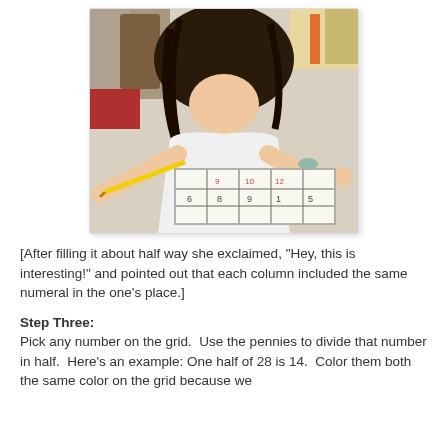[Figure (photo): A young girl with long dark hair leaning over a table, writing numbers on a hand-drawn grid with a yellow pencil. The grid has numbers visible in the bottom rows. Classroom/home setting with shelves in background.]
[After filling it about half way she exclaimed, "Hey, this is interesting!" and pointed out that each column included the same numeral in the one's place.]
Step Three:
Pick any number on the grid.  Use the pennies to divide that number in half.  Here's an example: One half of 28 is 14.  Color them both the same color on the grid because we